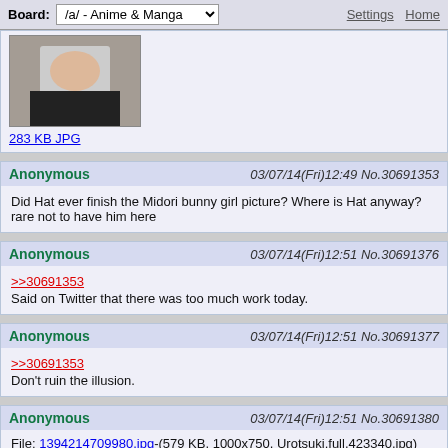Board: /a/ - Anime & Manga  Settings  Home
[Figure (photo): Partial thumbnail image of an anime character, cropped]
283 KB JPG
Anonymous  03/07/14(Fri)12:49 No.30691353
Did Hat ever finish the Midori bunny girl picture? Where is Hat anyway? rare not to have him here
Anonymous  03/07/14(Fri)12:51 No.30691376
>>30691353
Said on Twitter that there was too much work today.
Anonymous  03/07/14(Fri)12:51 No.30691377
>>30691353
Don't ruin the illusion.
Anonymous  03/07/14(Fri)12:51 No.30691380
File: 1394214709980.jpg-(579 KB, 1000x750, Urotsuki.full.423340.jpg)
>>30691210
We need someone like this for a trip to Mitakihara.